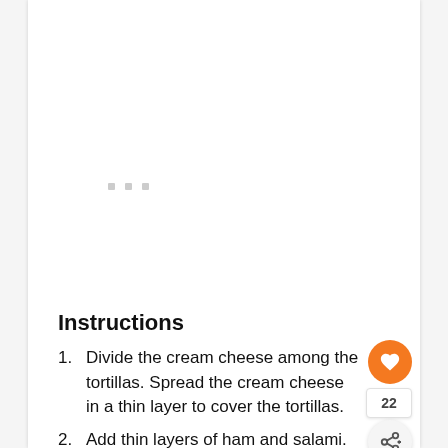[Figure (other): Loading placeholder area with three small gray squares arranged horizontally, representing a loading state for an image or advertisement]
Instructions
1. Divide the cream cheese among the tortillas. Spread the cream cheese in a thin layer to cover the tortillas.
2. Add thin layers of ham and salami.